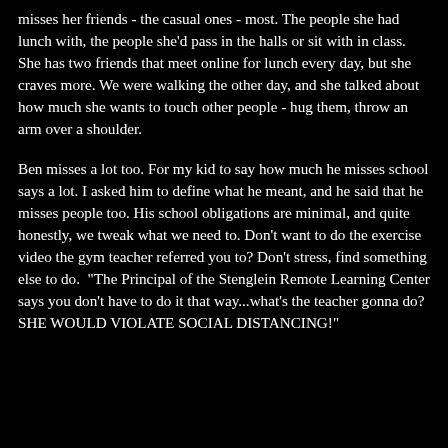misses her friends - the casual ones - most. The people she had lunch with, the people she'd pass in the halls or sit with in class. She has two friends that meet online for lunch every day, but she craves more. We were walking the other day, and she talked about how much she wants to touch other people - hug them, throw an arm over a shoulder.
Ben misses a lot too. For my kid to say how much he misses school says a lot. I asked him to define what he meant, and he said that he misses people too. His school obligations are minimal, and quite honestly, we tweak what we need to. Don't want to do the exercise video the gym teacher referred you to? Don't stress, find something else to do. "The Principal of the Stenglein Remote Learning Center says you don't have to do it that way...what's the teacher gonna do? SHE WOULD VIOLATE SOCIAL DISTANCING!"